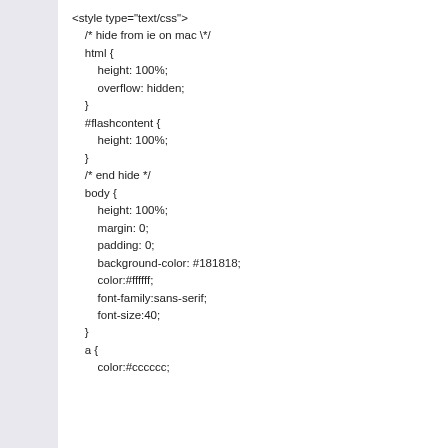<style type="text/css">
    /* hide from ie on mac \*/
    html {
        height: 100%;
        overflow: hidden;
    }
    #flashcontent {
        height: 100%;
    }
    /* end hide */
    body {
        height: 100%;
        margin: 0;
        padding: 0;
        background-color: #181818;
        color:#ffffff;
        font-family:sans-serif;
        font-size:40;
    }
    a {
        color:#cccccc;